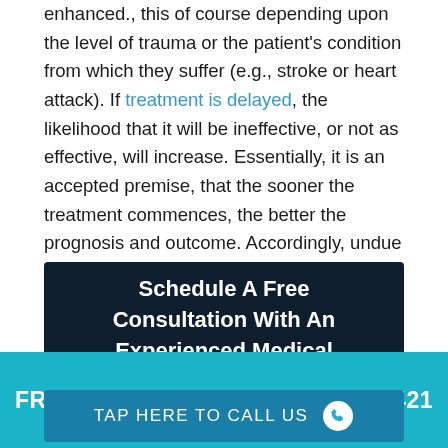enhanced., this of course depending upon the level of trauma or the patient's condition from which they suffer (e.g., stroke or heart attack). If treatment is delayed, the likelihood that it will be ineffective, or not as effective, will increase. Essentially, it is an accepted premise, that the sooner the treatment commences, the better the prognosis and outcome. Accordingly, undue delays in emergency medical treatment may constitute malpractice.
Schedule A Free Consultation With An Experienced Medical Malpractice Lawyer
FREE CONSULTATION: 973-845-4421
TAP HERE TO CALL US